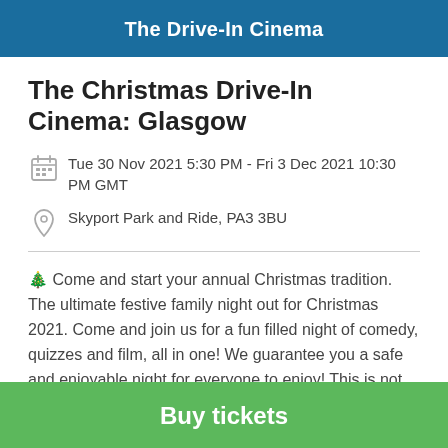The Drive-In Cinema
The Christmas Drive-In Cinema: Glasgow
Tue 30 Nov 2021 5:30 PM - Fri 3 Dec 2021 10:30 PM GMT
Skyport Park and Ride, PA3 3BU
🎄 Come and start your annual Christmas tradition. The ultimate festive family night out for Christmas 2021. Come and join us for a fun filled night of comedy, quizzes and film, all in one! We guarantee you a safe and enjoyable night for everyone to enjoy! This is not just a drive-in, this
Buy tickets